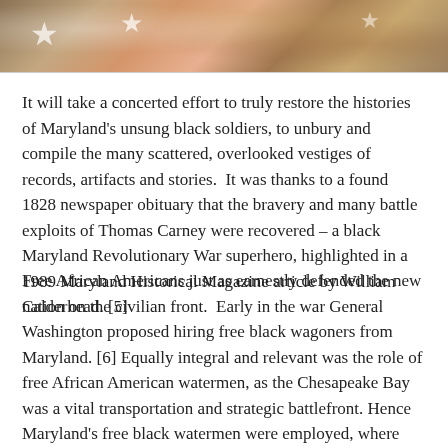[Figure (illustration): Partial view of a patriotic illustration or painting showing figures with stars, likely a Revolutionary War or American historical scene with warm colors.]
It will take a concerted effort to truly restore the histories of Maryland's unsung black soldiers, to unbury and compile the many scattered, overlooked vestiges of records, artifacts and stories.  It was thanks to a found 1828 newspaper obituary that the bravery and many battle exploits of Thomas Carney were recovered – a black Maryland Revolutionary War superhero, highlighted in a 1989 Maryland Historical Magazine article by William Calderhead. [5]
Free African Americans just as earnestly defended the new nation on the civilian front.  Early in the war General Washington proposed hiring free black wagoners from Maryland. [6] Equally integral and relevant was the role of free African American watermen, as the Chesapeake Bay was a vital transportation and strategic battlefront. Hence Maryland's free black watermen were employed, where their maritime and boat-building skills,